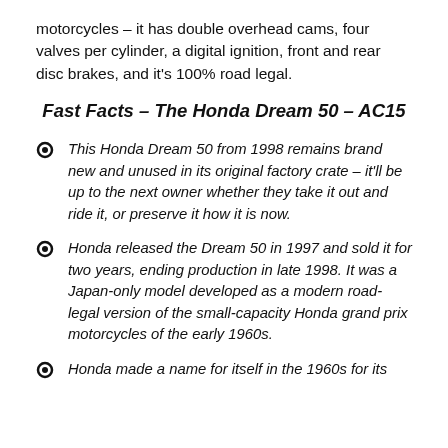motorcycles – it has double overhead cams, four valves per cylinder, a digital ignition, front and rear disc brakes, and it's 100% road legal.
Fast Facts – The Honda Dream 50 – AC15
This Honda Dream 50 from 1998 remains brand new and unused in its original factory crate – it'll be up to the next owner whether they take it out and ride it, or preserve it how it is now.
Honda released the Dream 50 in 1997 and sold it for two years, ending production in late 1998. It was a Japan-only model developed as a modern road-legal version of the small-capacity Honda grand prix motorcycles of the early 1960s.
Honda made a name for itself in the 1960s for its